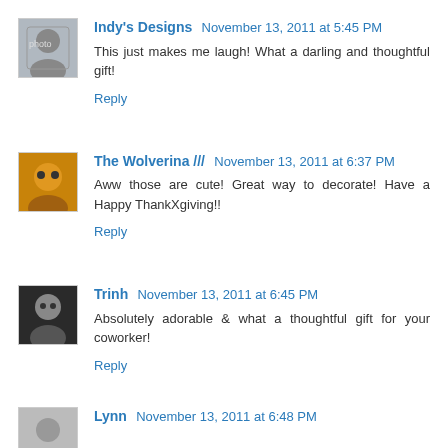Indy's Designs November 13, 2011 at 5:45 PM
This just makes me laugh! What a darling and thoughtful gift!
Reply
The Wolverina /// November 13, 2011 at 6:37 PM
Aww those are cute! Great way to decorate! Have a Happy ThankXgiving!!
Reply
Trinh November 13, 2011 at 6:45 PM
Absolutely adorable & what a thoughtful gift for your coworker!
Reply
Lynn November 13, 2011 at 6:48 PM